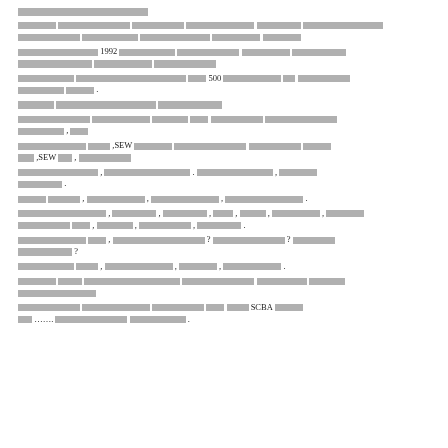[redacted content - legal document page with multiple paragraphs of text, some containing visible characters including '1992', '500', 'SEW', 'SCBA']